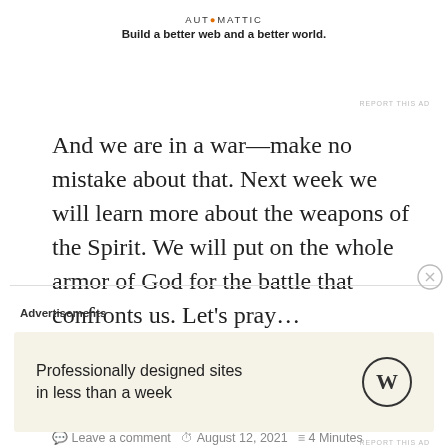[Figure (logo): Automattic logo with orange dot and tagline: Build a better web and a better world.]
REPORT THIS AD
And we are in a war—make no mistake about that. Next week we will learn more about the weapons of the Spirit. We will put on the whole armor of God for the battle that confronts us. Let's pray…
lowellhennigs
Anti-racism, Ephesians, Throwback Thursday Books
Leave a comment  August 12, 2021  4 Minutes
Advertisements
[Figure (logo): WordPress ad card with text: Professionally designed sites in less than a week, and WordPress logo]
REPORT THIS AD